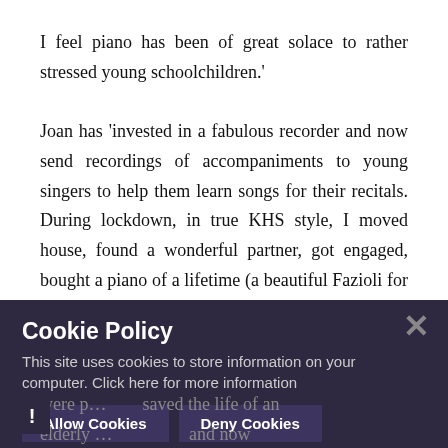I feel piano has been of great solace to rather stressed young schoolchildren.'
Joan has 'invested in a fabulous recorder and now send recordings of accompaniments to young singers to help them learn songs for their recitals. During lockdown, in true KHS style, I moved house, found a wonderful partner, got engaged, bought a piano of a lifetime (a beautiful Fazioli for recording purposes), and am getting married in 2022.' If we were ro... piano... saved the life of an elderly... and now him da... very adds, he... life as you can... to hi... ly Nearest becomes...
[Figure (screenshot): Cookie Policy overlay dialog with dark purple background. Title: 'Cookie Policy'. Body text: 'This site uses cookies to store information on your computer. Click here for more information'. Two buttons: 'Allow Cookies' and 'Deny Cookies'. Close X button top right. Exclamation mark icon bottom left.]